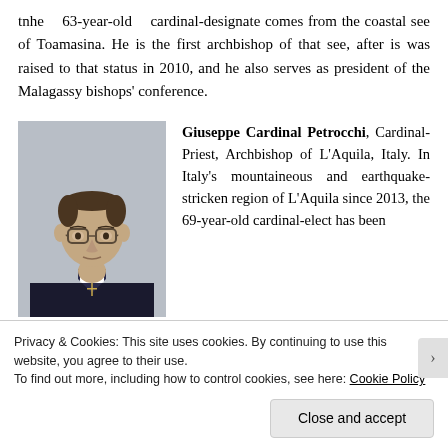tnhe 63-year-old cardinal-designate comes from the coastal see of Toamasina. He is the first archbishop of that see, after is was raised to that status in 2010, and he also serves as president of the Malagassy bishops' conference.
[Figure (photo): Portrait photo of Giuseppe Cardinal Petrocchi, a middle-aged man wearing glasses and clerical attire including a black jacket with a white clerical collar and a pectoral cross.]
Giuseppe Cardinal Petrocchi, Cardinal-Priest, Archbishop of L'Aquila, Italy. In Italy's mountaineous and earthquake-stricken region of L'Aquila since 2013, the 69-year-old cardinal-elect has been
Privacy & Cookies: This site uses cookies. By continuing to use this website, you agree to their use.
To find out more, including how to control cookies, see here: Cookie Policy